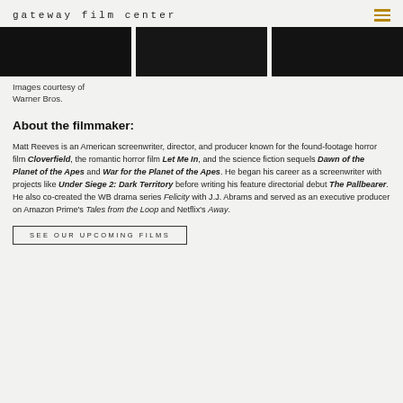gateway film center
[Figure (photo): Three dark film stills side by side showing figures in low-light scenes]
Images courtesy of Warner Bros.
About the filmmaker:
Matt Reeves is an American screenwriter, director, and producer known for the found-footage horror film Cloverfield, the romantic horror film Let Me In, and the science fiction sequels Dawn of the Planet of the Apes and War for the Planet of the Apes. He began his career as a screenwriter with projects like Under Siege 2: Dark Territory before writing his feature directorial debut The Pallbearer. He also co-created the WB drama series Felicity with J.J. Abrams and served as an executive producer on Amazon Prime's Tales from the Loop and Netflix's Away.
SEE OUR UPCOMING FILMS